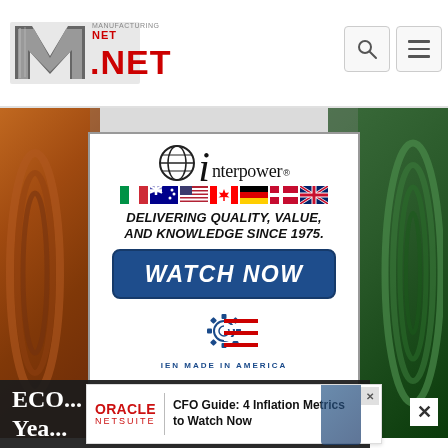Manufacturing.NET
[Figure (logo): Manufacturing.NET logo with stylized M and red NET text]
[Figure (infographic): Interpower advertisement: globe icon with letter i, 'interpower' text, row of country flags (Italy, Australia, USA, Canada, Germany, Denmark, UK), bold italic text 'DELIVERING QUALITY, VALUE, AND KNOWLEDGE SINCE 1975.', dark blue rounded button 'WATCH NOW', gear+flag 'Made in America' emblem]
[Figure (photo): Background photo of industrial wire/cable spools in orange and green]
ECO... ...e Yea... ...r
[Figure (screenshot): Oracle NetSuite banner ad: 'CFO Guide: 4 Inflation Metrics to Watch Now']